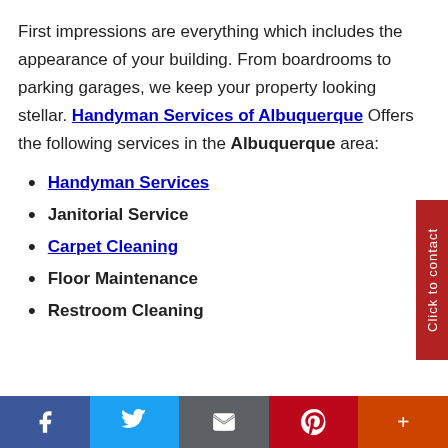First impressions are everything which includes the appearance of your building. From boardrooms to parking garages, we keep your property looking stellar. Handyman Services of Albuquerque Offers the following services in the Albuquerque area:
Handyman Services
Janitorial Service
Carpet Cleaning
Floor Maintenance
Restroom Cleaning
f  [twitter]  [email]  p  +